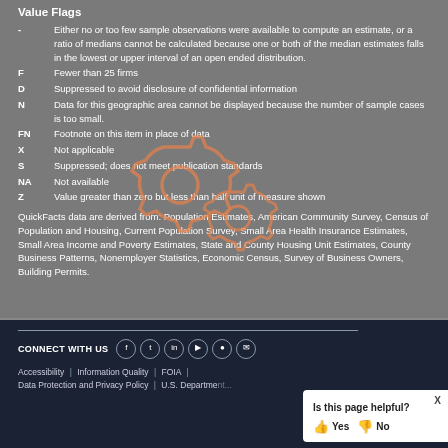Value Flags
- Either no or too few sample observations were available to compute an estimate, or a ratio of medians cannot be calculated because one or both of the median estimates falls in the lowest or upper interval of an open ended distribution.
F  Fewer than 25 firms
D  Suppressed to avoid disclosure of confidential information
N  Data for this geographic area cannot be displayed because the number of sample cases is too small.
FN  Footnote on this item in place of data
X  Not applicable
S  Suppressed; does not meet publication standards
NA  Not available
Z  Value greater than zero but less than half unit of measure shown
QuickFacts data are derived from: Population Estimates, American Community Survey, Census of Population and Housing, Current Population Survey, Small Area Health Insurance Estimates, Small Area Income and Poverty Estimates, State and County Housing Unit Estimates, County Business Patterns, Nonemployer Statistics, Economic Census, Survey of Business Owners, Building Permits.
CONNECT WITH US  Accessibility | Information Quality | FOIA | Data Protection and Privacy Policy | U.S. Department...